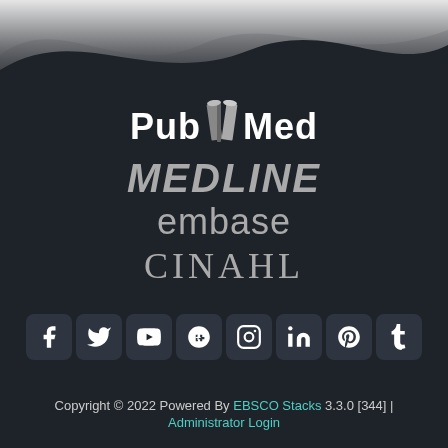[Figure (illustration): Wavy decorative banner at the top of the page in white/gray on dark background]
[Figure (logo): PubMed logo with book icon, MEDLINE in bold italic, embase in gray, CINAHL in serif caps — all centered on dark background]
[Figure (infographic): Row of social media icon buttons: Facebook, Twitter, YouTube, Google+, Instagram, LinkedIn, Pinterest, Tumblr]
Copyright © 2022 Powered By EBSCO Stacks 3.3.0 [344] | Administrator Login